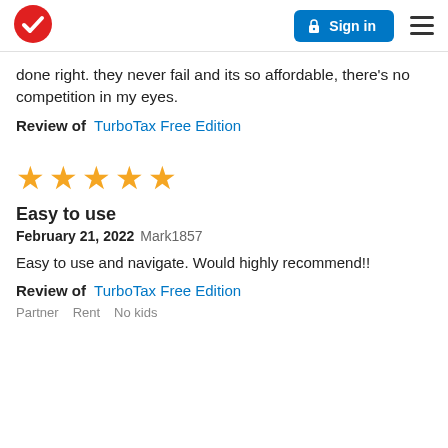Sign in
done right. they never fail and its so affordable, there's no competition in my eyes.
Review of  TurboTax Free Edition
[Figure (other): Five yellow stars rating]
Easy to use
February 21, 2022 Mark1857
Easy to use and navigate. Would highly recommend!!
Review of  TurboTax Free Edition
Partner  Rent  No kids